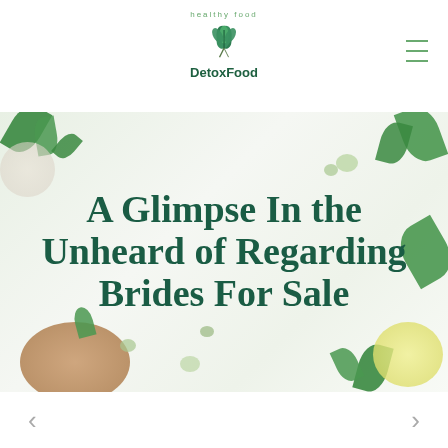DetoxFood — healthy food logo and navigation
[Figure (photo): Hero image with healthy food ingredients (leaves, pebbles, lemon, wooden bowl) on light background with large bold title text overlay: 'A Glimpse In the Unheard of Regarding Brides For Sale']
A Glimpse In the Unheard of Regarding Brides For Sale